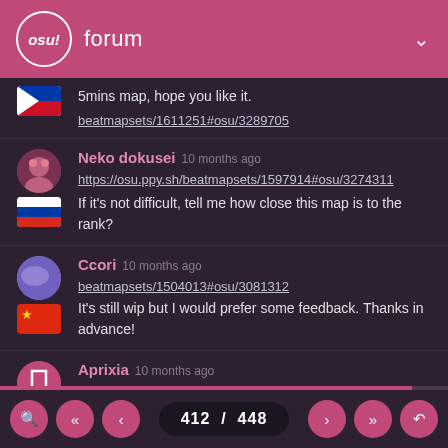osu! forum
5mins map, hope you like it.

beatmapsets/1611251#osu/3289705
Neko dokusei 10 months ago
https://osu.ppy.sh/beatmapsets/1597914#osu/3274311
If it's not difficult, tell me how close this map is to the rank?
Ccori 10 months ago
beatmapsets/1504013#osu/3081312
It's still wip but I would prefer some feedback. Thanks in advance!
Aprixia 10 months ago
412 / 448